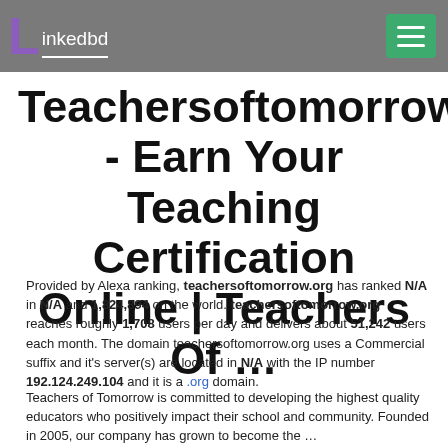Linkedbd
Teachersoftomorrow.org - Earn Your Teaching Certification Online | Teachers Of …
Provided by Alexa ranking, teachersoftomorrow.org has ranked N/A in N/A and 1,824,894 on the world. teachersoftomorrow.org reaches roughly 1,708 users per day and delivers about 51,242 users each month. The domain teachersoftomorrow.org uses a Commercial suffix and it's server(s) are located in N/A with the IP number 192.124.249.104 and it is a .org domain.
Teachers of Tomorrow is committed to developing the highest quality educators who positively impact their school and community. Founded in 2005, our company has grown to become the …